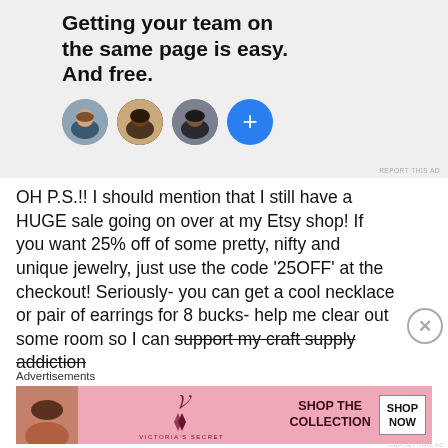[Figure (screenshot): Advertisement banner with text 'Getting your team on the same page is easy. And free.' with three circular profile photos and a blue plus button]
OH P.S.!! I should mention that I still have a HUGE sale going on over at my Etsy shop! If you want 25% off of some pretty, nifty and unique jewelry, just use the code '25OFF' at the checkout! Seriously- you can get a cool necklace or pair of earrings for 8 bucks- help me clear out some room so I can support my craft supply addiction
[Figure (screenshot): Victoria's Secret advertisement banner with woman photo, VS logo, 'SHOP THE COLLECTION' text and 'SHOP NOW' button]